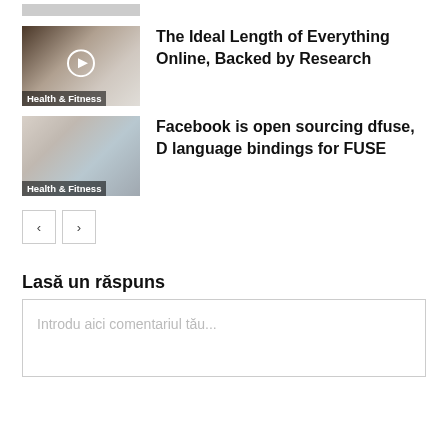[Figure (photo): Partial image stub at top]
[Figure (photo): Thumbnail of desk with keyboard, labeled Health & Fitness, with play button]
The Ideal Length of Everything Online, Backed by Research
[Figure (photo): Thumbnail of office/workspace interior, labeled Health & Fitness]
Facebook is open sourcing dfuse, D language bindings for FUSE
Pagination: previous and next buttons
Lasă un răspuns
Introdu aici comentariul tău...